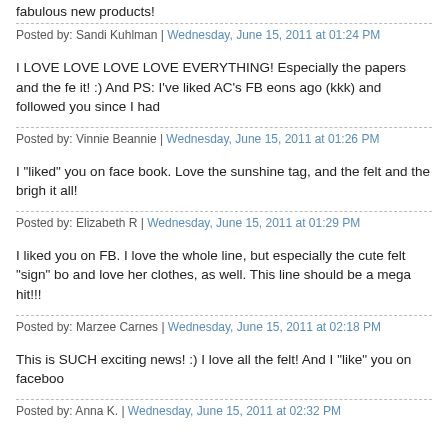fabulous new products!
Posted by: Sandi Kuhlman | Wednesday, June 15, 2011 at 01:24 PM
I LOVE LOVE LOVE LOVE EVERYTHING! Especially the papers and the fe it! :) And PS: I've liked AC's FB eons ago (kkk) and followed you since I had
Posted by: Vinnie Beannie | Wednesday, June 15, 2011 at 01:26 PM
I "liked" you on face book. Love the sunshine tag, and the felt and the brigh it all!
Posted by: Elizabeth R | Wednesday, June 15, 2011 at 01:29 PM
I liked you on FB. I love the whole line, but especially the cute felt "sign" bo and love her clothes, as well. This line should be a mega hit!!!
Posted by: Marzee Carnes | Wednesday, June 15, 2011 at 02:18 PM
This is SUCH exciting news! :) I love all the felt! And I "like" you on faceboo
Posted by: Anna K. | Wednesday, June 15, 2011 at 02:32 PM